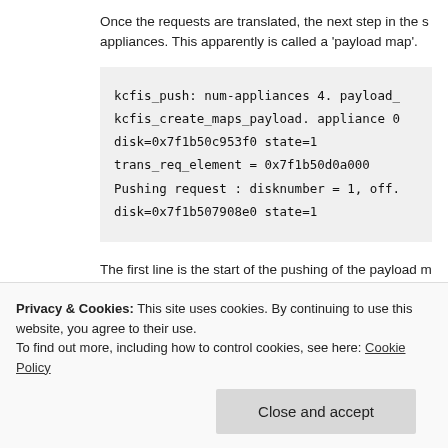Once the requests are translated, the next step in the s appliances. This apparently is called a 'payload map'.
[Figure (screenshot): Code block showing kernel FIS push operations: kcfis_push: num-appliances 4. payload_, kcfis_create_maps_payload. appliance 0, disk=0x7f1b50c953f0 state=1, trans_req_element = 0x7f1b50d0a000, Pushing request : disknumber = 1, off., disk=0x7f1b507908e0 state=1]
The first line is the start of the pushing of the payload m being chosen. What is shown next is a line showing 'di a maps push, the disk lines are followed by two lines s request'. These two lines probably are some kind of sta pushing of the request. Here we see the request id bac
Privacy & Cookies: This site uses cookies. By continuing to use this website, you agree to their use.
To find out more, including how to control cookies, see here: Cookie Policy